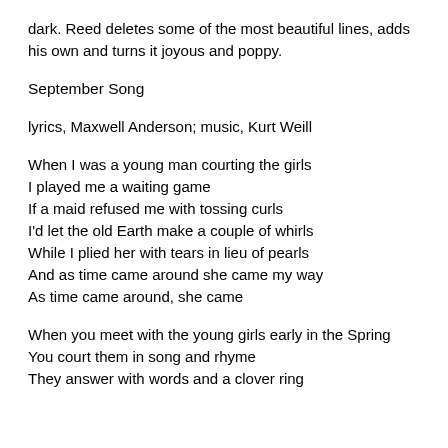dark. Reed deletes some of the most beautiful lines, adds his own and turns it joyous and poppy.
September Song
lyrics, Maxwell Anderson; music, Kurt Weill
When I was a young man courting the girls
I played me a waiting game
If a maid refused me with tossing curls
I'd let the old Earth make a couple of whirls
While I plied her with tears in lieu of pearls
And as time came around she came my way
As time came around, she came
When you meet with the young girls early in the Spring
You court them in song and rhyme
They answer with words and a clover ring